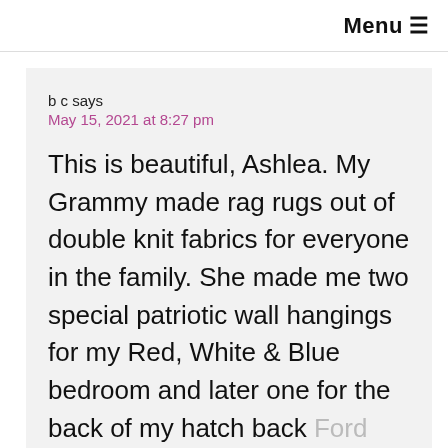Menu ≡
b c says
May 15, 2021 at 8:27 pm
This is beautiful, Ashlea. My Grammy made rag rugs out of double knit fabrics for everyone in the family. She made me two special patriotic wall hangings for my Red, White & Blue bedroom and later one for the back of my hatch back Ford Pinto. I still have them both along with one other she made me. Being dbl